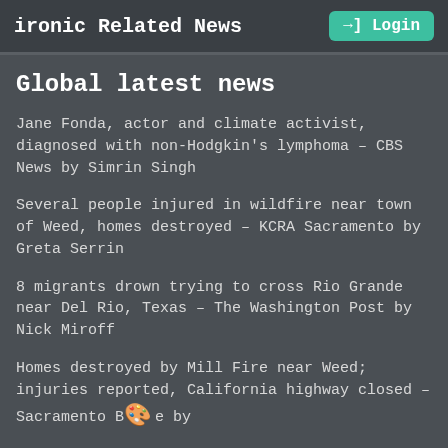ironic Related News  →] Login
Global latest news
Jane Fonda, actor and climate activist, diagnosed with non-Hodgkin's lymphoma – CBS News by Simrin Singh
Several people injured in wildfire near town of Weed, homes destroyed – KCRA Sacramento by Greta Serrin
8 migrants drown trying to cross Rio Grande near Del Rio, Texas – The Washington Post by Nick Miroff
Homes destroyed by Mill Fire near Weed; injuries reported, California highway closed – Sacramento Bee by
Eight killed and dozens rescued from river at...